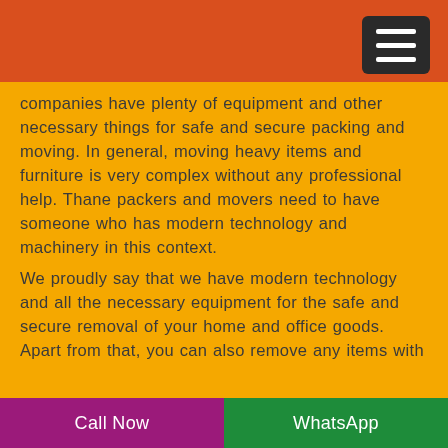companies have plenty of equipment and other necessary things for safe and secure packing and moving. In general, moving heavy items and furniture is very complex without any professional help. Thane packers and movers need to have someone who has modern technology and machinery in this context.
We proudly say that we have modern technology and all the necessary equipment for the safe and secure removal of your home and office goods. Apart from that, you can also remove any items with the help of our services. We can help you shift from any location and work in a narrow staircase or new Floor or anything like that. Therefore, you must never hesitate to find out your available options with us and enjoy the high-quality services in small packages that are easily affordable.
Call Now | WhatsApp